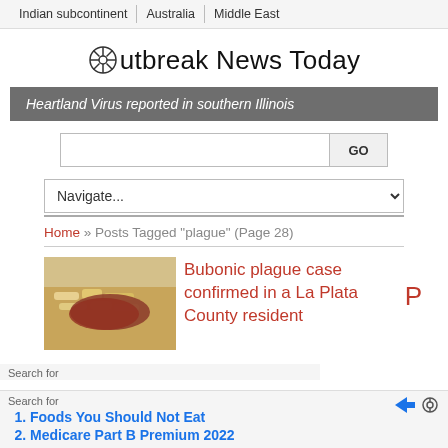Indian subcontinent | Australia | Middle East
Outbreak News Today
Heartland Virus reported in southern Illinois
[Figure (screenshot): Search box with GO button]
[Figure (screenshot): Navigate... dropdown]
Home » Posts Tagged "plague" (Page 28)
[Figure (photo): Food photo showing what appears to be fries with sauce]
Bubonic plague case confirmed in a La Plata County resident
Search for
1. Foods You Should Not Eat
2. Medicare Part B Premium 2022